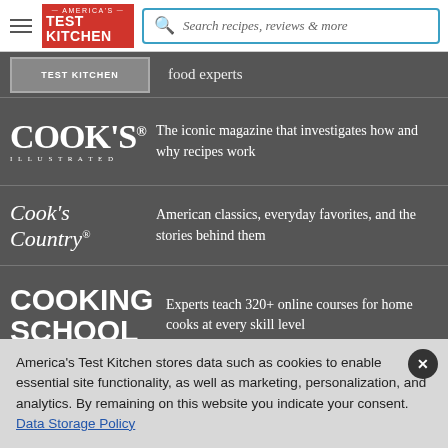[Figure (screenshot): America's Test Kitchen navigation bar with hamburger menu, red ATK logo, and search field reading 'Search recipes, reviews & more']
food experts
[Figure (logo): Cook's Illustrated logo in white serif text]
The iconic magazine that investigates how and why recipes work
[Figure (logo): Cook's Country logo in white italic script]
American classics, everyday favorites, and the stories behind them
[Figure (logo): Cooking School logo in white bold uppercase text]
Experts teach 320+ online courses for home cooks at every skill level
America's Test Kitchen stores data such as cookies to enable essential site functionality, as well as marketing, personalization, and analytics. By remaining on this website you indicate your consent. Data Storage Policy